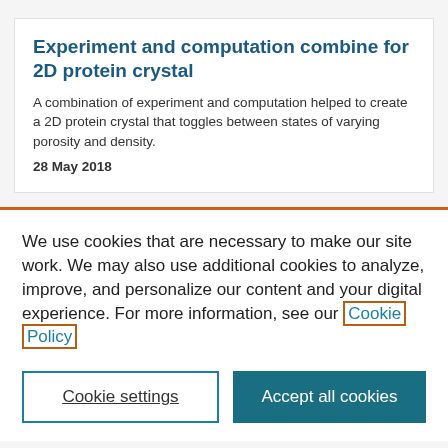Experiment and computation combine for 2D protein crystal
A combination of experiment and computation helped to create a 2D protein crystal that toggles between states of varying porosity and density.
28 May 2018
We use cookies that are necessary to make our site work. We may also use additional cookies to analyze, improve, and personalize our content and your digital experience. For more information, see our Cookie Policy
Cookie settings
Accept all cookies